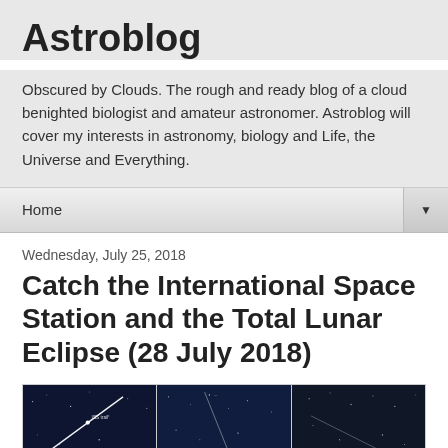Astroblog
Obscured by Clouds. The rough and ready blog of a cloud benighted biologist and amateur astronomer. Astroblog will cover my interests in astronomy, biology and Life, the Universe and Everything.
Home
Wednesday, July 25, 2018
Catch the International Space Station and the Total Lunar Eclipse (28 July 2018)
[Figure (photo): Three astronomical night-sky images side by side showing star fields with ISS trails, arranged in a horizontal row with borders.]